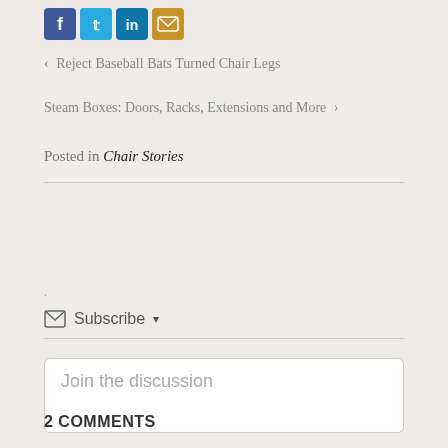[Figure (other): Social media share icons: Facebook (blue), Twitter (blue), LinkedIn (blue), Email (gold)]
‹ Reject Baseball Bats Turned Chair Legs
Steam Boxes: Doors, Racks, Extensions and More ›
Posted in Chair Stories
✉ Subscribe ▾
Join the discussion
[Figure (other): Paperclip attachment icon]
[Figure (other): Back to top circular button with upward chevron arrow]
2 COMMENTS